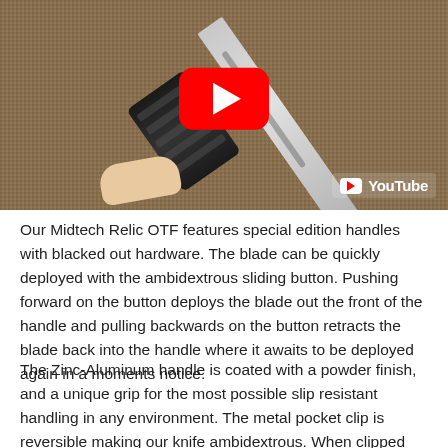[Figure (photo): Video thumbnail showing a knife (Midtech Relic OTF) being held against a woven fabric background, with a YouTube play button overlay in the center and a YouTube logo watermark in the bottom right corner.]
Our Midtech Relic OTF features special edition handles with blacked out hardware. The blade can be quickly deployed with the ambidextrous sliding button. Pushing forward on the button deploys the blade out the front of the handle and pulling backwards on the button retracts the blade back into the handle where it awaits to be deployed again in a moments notice.
The Zinc-Aluminum handle is coated with a powder finish, and a unique grip for the most possible slip resistant handling in any environment. The metal pocket clip is reversible making our knife ambidextrous. When clipped